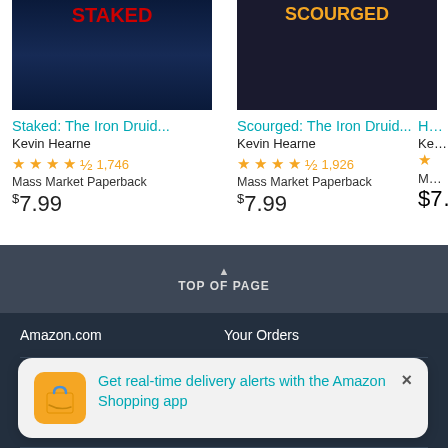[Figure (photo): Book cover for Staked: The Iron Druid Chronicles]
Staked: The Iron Druid...
Kevin Hearne
4.5 stars, 1,746 reviews
Mass Market Paperback
$7.99
[Figure (photo): Book cover for Scourged: The Iron Druid Chronicles]
Scourged: The Iron Druid...
Kevin Hearne
4.5 stars, 1,926 reviews
Mass Market Paperback
$7.99
TOP OF PAGE
Amazon.com
Your Orders
AmazonFresh
Your Lists
Gift Cards & Registry
Find a Gift
Get real-time delivery alerts with the Amazon Shopping app